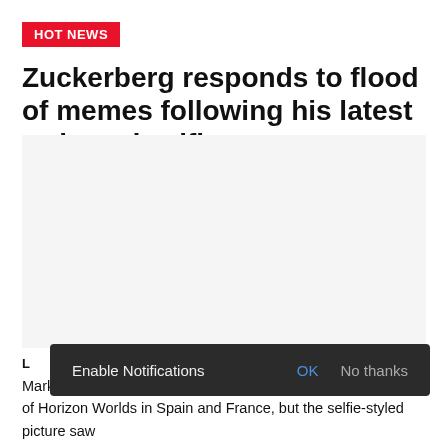HOT NEWS
Zuckerberg responds to flood of memes following his latest awkward selfie
James Browning - Aug 28, 2022
[Figure (photo): Large image placeholder area (article photo not visible)]
Enable Notifications OK No thanks
Mark Zuckerberg posted a screenshot to celebrate the roll-out of Horizon Worlds in Spain and France, but the selfie-styled picture saw